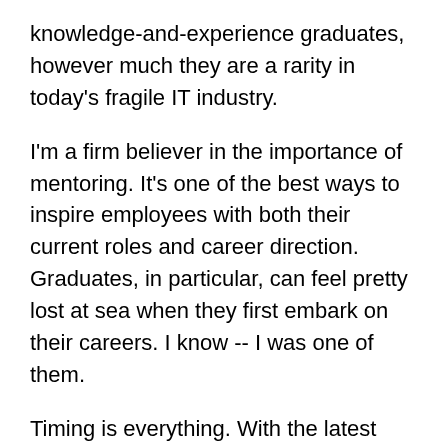knowledge-and-experience graduates, however much they are a rarity in today's fragile IT industry.
I'm a firm believer in the importance of mentoring. It's one of the best ways to inspire employees with both their current roles and career direction. Graduates, in particular, can feel pretty lost at sea when they first embark on their careers. I know -- I was one of them.
Timing is everything. With the latest new graduate recruits starting work about now, it's the perfect time to kick-start the mentoring.
The other day I was having coffee with a recent graduate. Out of nowhere, she said she wanted to be an IT Project Manager. I probed further to gauge